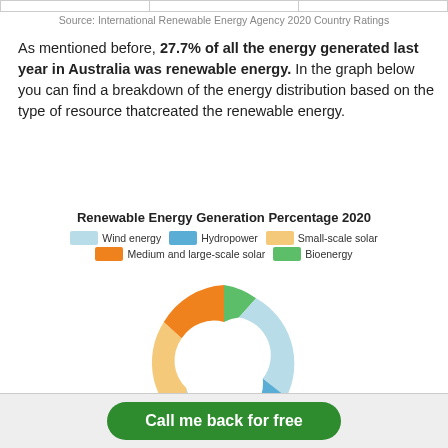Source: International Renewable Energy Agency 2020 Country Ratings
As mentioned before, 27.7% of all the energy generated last year in Australia was renewable energy. In the graph below you can find a breakdown of the energy distribution based on the type of resource thatcreated the renewable energy.
[Figure (donut-chart): Renewable Energy Generation Percentage 2020]
Call me back for free